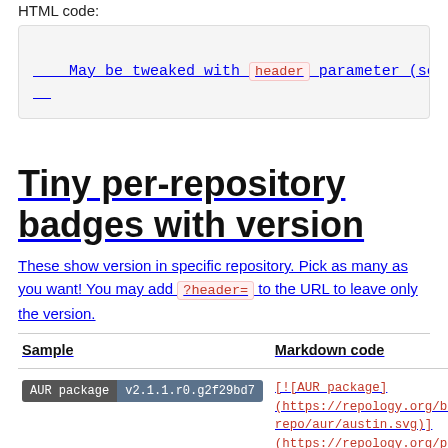HTML code:
<a href="https://repology.org/project/austin/version
    <img src="https://repology.org/badge/latest-vers
</a>
May be tweaked with header parameter (see below).
Tiny per-repository badges with version
These show version in specific repository. Pick as many as you want! You may add ?header= to the URL to leave only the version.
| Sample | Markdown code |
| --- | --- |
| AUR package v2.1.1.r0.g2f29bd7 | [![AUR package](https://repology.org/badg
repo/aur/austin.svg)]
(https://repology.org/pro |